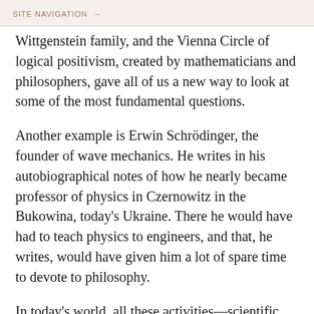SITE NAVIGATION →
Wittgenstein family, and the Vienna Circle of logical positivism, created by mathematicians and philosophers, gave all of us a new way to look at some of the most fundamental questions.
Another example is Erwin Schrödinger, the founder of wave mechanics. He writes in his autobiographical notes of how he nearly became professor of physics in Czernowitz in the Bukowina, today's Ukraine. There he would have had to teach physics to engineers, and that, he writes, would have given him a lot of spare time to devote to philosophy.
In today's world, all these activities—scientific, artistic, whatever—have been compartmentalized to an